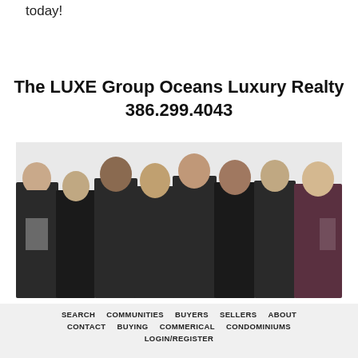today!
The LUXE Group Oceans Luxury Realty
386.299.4043
[Figure (photo): Group photo of 8 real estate agents dressed in black, posed against a white background]
SEARCH   COMMUNITIES   BUYERS   SELLERS   ABOUT   CONTACT   BUYING   COMMERICAL   CONDOMINIUMS   LOGIN/REGISTER